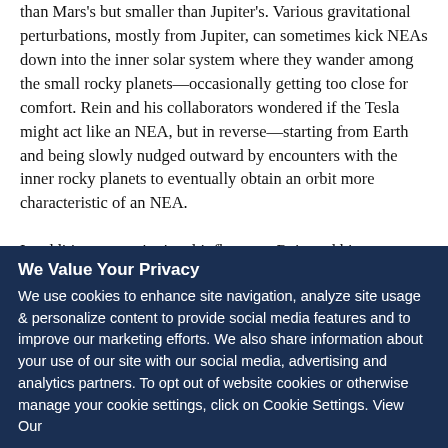than Mars's but smaller than Jupiter's. Various gravitational perturbations, mostly from Jupiter, can sometimes kick NEAs down into the inner solar system where they wander among the small rocky planets—occasionally getting too close for comfort. Rein and his collaborators wondered if the Tesla might act like an NEA, but in reverse—starting from Earth and being slowly nudged outward by encounters with the inner rocky planets to eventually obtain an orbit more characteristic of an NEA.
In addition to gravitational influences, Rein and his colleagues had to consider other effects. Most asteroids have odd shapes
We Value Your Privacy
We use cookies to enhance site navigation, analyze site usage & personalize content to provide social media features and to improve our marketing efforts. We also share information about your use of our site with our social media, advertising and analytics partners. To opt out of website cookies or otherwise manage your cookie settings, click on Cookie Settings. View Our